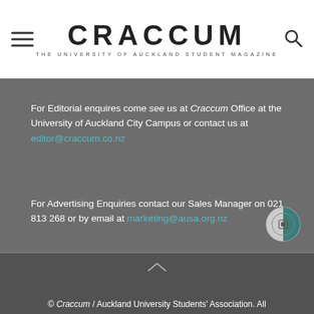CRACCUM — THE UNIVERSITY OF AUCKLAND STUDENT MAGAZINE
For Editorial enquires come see us at Craccum Office at the University of Auckland City Campus or contact us at editor@craccum.co.nz
For Advertising Enquiries contact our Sales Manager on 021 813 268 or by email at marketing@ausa.org.nz
[Figure (logo): AUSA circular logo badge, half dark half light design]
© Craccum / Auckland University Students' Association. All Rights Reserved.